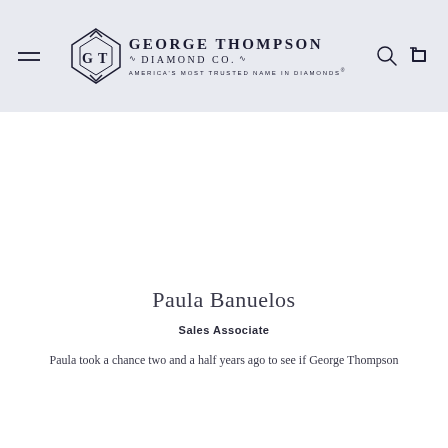George Thompson Diamond Co. — America's Most Trusted Name in Diamonds
Paula Banuelos
Sales Associate
Paula took a chance two and a half years ago to see if George Thompson